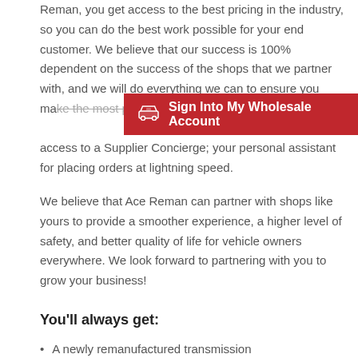Reman, you get access to the best pricing in the industry, so you can do the best work possible for your end customer. We believe that our success is 100% dependent on the success of the shops that we partner with, and we will do everything we can to ensure you make the most profit with the least hassle. That's why every shop that partners with Ace Reman receives access to a Supplier Concierge; your personal assistant for placing orders at lightning speed.
[Figure (other): Red banner button: car icon followed by bold white text 'Sign Into My Wholesale Account']
We believe that Ace Reman can partner with shops like yours to provide a smoother experience, a higher level of safety, and better quality of life for vehicle owners everywhere. We look forward to partnering with you to grow your business!
You'll always get:
A newly remanufactured transmission